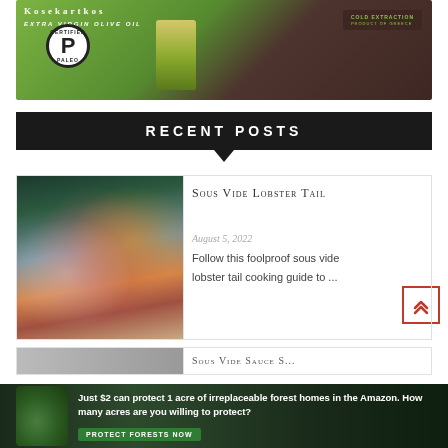[Figure (photo): Kosterankos Extra Virgin Olive Oil product image with Certified Paleo badge, olive oil bottle and tin with Cold Extraction label]
RECENT POSTS
[Figure (photo): Sous vide lobster tail dish - bowls with lobster in butter sauce]
Sous Vide Lobster Tail
August 5, 2022
Follow this foolproof sous vide lobster tail cooking guide to ...
[Figure (photo): Partial view of second recent post thumbnail]
Sous Vide Sauce S...
[Figure (infographic): Banner ad: Just $2 can protect 1 acre of irreplaceable forest homes in the Amazon. How many acres are you willing to protect? PROTECT FORESTS NOW]